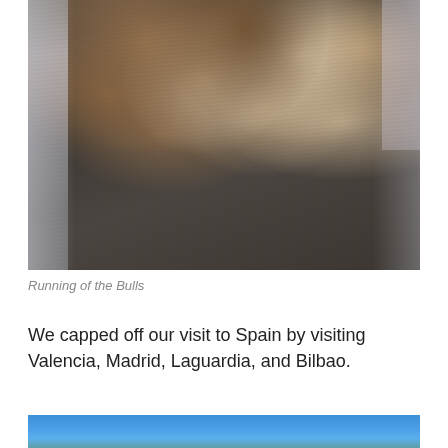[Figure (photo): Aerial/overhead view of the Running of the Bulls event in Pamplona, Spain. Bulls and runners are seen from above on a cobblestone street, with spectators visible along the sides. The image is motion-blurred, showing several bulls including brown, white, and dark-colored ones running along the street.]
Running of the Bulls
We capped off our visit to Spain by visiting Valencia, Madrid, Laguardia, and Bilbao.
[Figure (photo): Partially visible photo at the bottom of the page showing a bright blue sky, likely the beginning of another travel photo from Spain.]